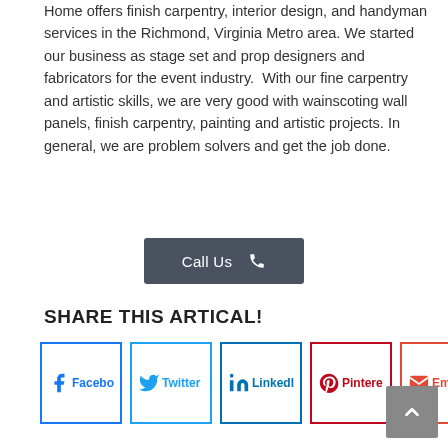Home offers finish carpentry, interior design, and handyman services in the Richmond, Virginia Metro area. We started our business as stage set and prop designers and fabricators for the event industry. With our fine carpentry and artistic skills, we are very good with wainscoting wall panels, finish carpentry, painting and artistic projects. In general, we are problem solvers and get the job done.
Call Us
SHARE THIS ARTICAL!
[Figure (other): Social share buttons: Facebook, Twitter, LinkedIn, Pinterest, Email]